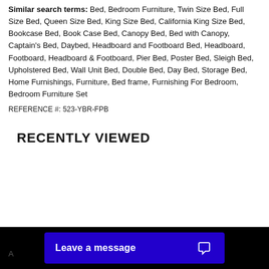Similar search terms: Bed, Bedroom Furniture, Twin Size Bed, Full Size Bed, Queen Size Bed, King Size Bed, California King Size Bed, Bookcase Bed, Book Case Bed, Canopy Bed, Bed with Canopy, Captain's Bed, Daybed, Headboard and Footboard Bed, Headboard, Footboard, Headboard & Footboard, Pier Bed, Poster Bed, Sleigh Bed, Upholstered Bed, Wall Unit Bed, Double Bed, Day Bed, Storage Bed, Home Furnishings, Furniture, Bed frame, Furnishing For Bedroom, Bedroom Furniture Set
REFERENCE #: 523-YBR-FPB
RECENTLY VIEWED
Leave a message